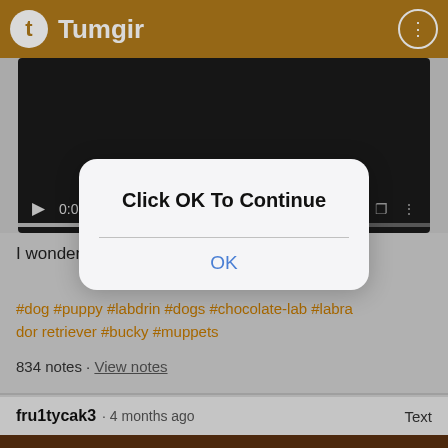Tumgir
[Figure (screenshot): Video player with dark background showing time 0:00, play button, volume icon, fullscreen icon, and progress bar]
I wonder if Bucky's a fan of my mom's singing?
[Figure (screenshot): Modal dialog box with title 'Click OK To Continue' and an OK button]
#dog #puppy #labdrin #dogs #chocolate-lab #labrador retriever #bucky #muppets
834 notes · View notes
fru1tycak3 · 4 months ago    Text